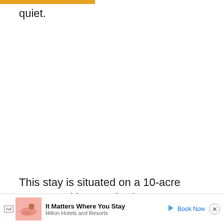quiet.
This stay is situated on a 10-acre property with a creek where you can go tubing. There's also a path right t… …ecret beach… …et a
[Figure (screenshot): Advertisement banner overlay at bottom of page: Hilton Hotels and Resorts ad with 'It Matters Where You Stay' tagline, Book Now button, close button, and small beach/resort image.]